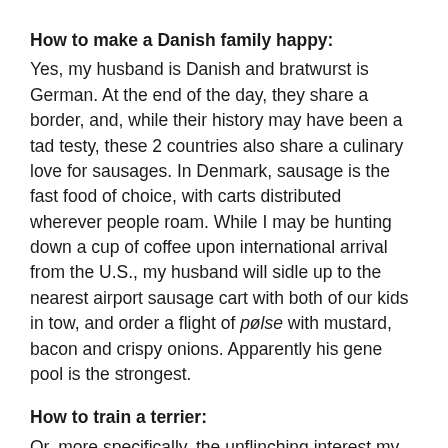How to make a Danish family happy:
Yes, my husband is Danish and bratwurst is German. At the end of the day, they share a border, and, while their history may have been a tad testy, these 2 countries also share a culinary love for sausages. In Denmark, sausage is the fast food of choice, with carts distributed wherever people roam. While I may be hunting down a cup of coffee upon international arrival from the U.S., my husband will sidle up to the nearest airport sausage cart with both of our kids in tow, and order a flight of pølse with mustard, bacon and crispy onions. Apparently his gene pool is the strongest.
How to train a terrier:
Or, more specifically, the unflinching interest my dog is showing in me while making bratwurst is unsettling. I have never succeeded in getting our terrier to consistently obey me. Now I know how.